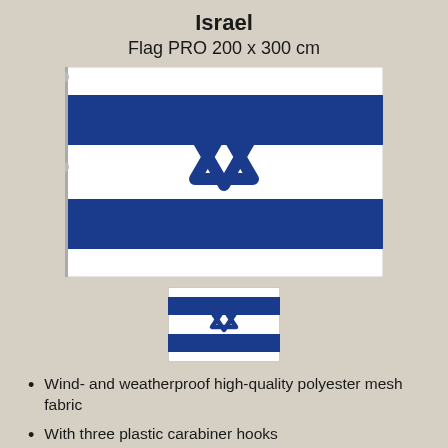Israel
Flag PRO 200 x 300 cm
[Figure (photo): Large Israel flag on a pole, showing two horizontal blue stripes on white background with the Star of David in the center]
[Figure (photo): Small Israel flag thumbnail showing two blue stripes and Star of David]
Wind- and weatherproof high-quality polyester mesh fabric
With three plastic carabiner hooks
Double stitched hem for high resistance to